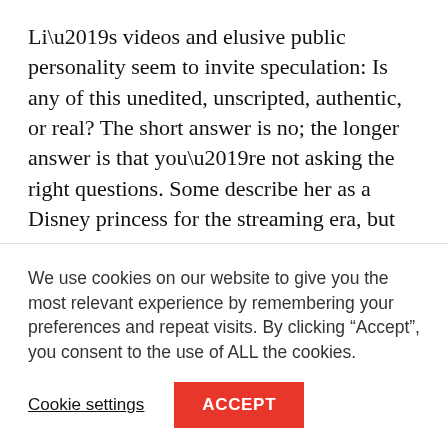Li’s videos and elusive public personality seem to invite speculation: Is any of this unedited, unscripted, authentic, or real? The short answer is no; the longer answer is that you’re not asking the right questions. Some describe her as a Disney princess for the streaming era, but this is a mistake. It is rather the Disney princesses who resemble her: She is not a realist, but a Romantic.
Romanticism was born with its head in the clouds, as can be seen from Caspar David Friedrich’s emblematic
We use cookies on our website to give you the most relevant experience by remembering your preferences and repeat visits. By clicking “Accept”, you consent to the use of ALL the cookies.
Cookie settings
ACCEPT